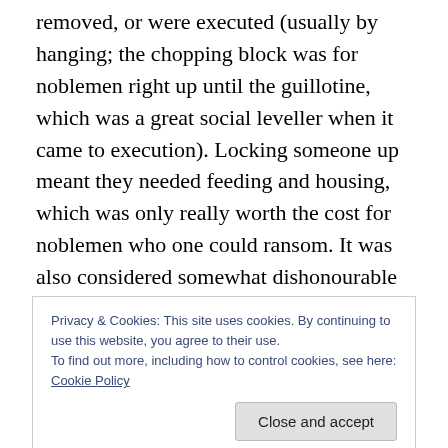removed, or were executed (usually by hanging; the chopping block was for noblemen right up until the guillotine, which was a great social leveller when it came to execution). Locking someone up meant they needed feeding and housing, which was only really worth the cost for noblemen who one could ransom. It was also considered somewhat dishonourable to kill noblemen in most cases, even more so the higher rank they were; indeed, there was much outrage when Oliver Cromwell ordered King Charles I executed despite the fact that he had been convicted of treason and was highly unpopular
Privacy & Cookies: This site uses cookies. By continuing to use this website, you agree to their use.
To find out more, including how to control cookies, see here: Cookie Policy
state prison in 1417. Originally, it held whichever landed